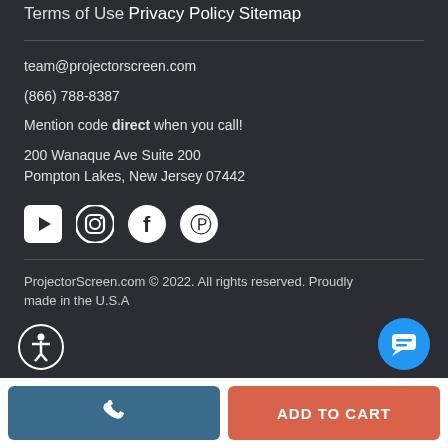Terms of Use
Privacy Policy
Sitemap
team@projectorscreen.com
(866) 788-8387
Mention code direct when you call!
200 Wanaque Ave Suite 200
Pompton Lakes, New Jersey 07442
[Figure (illustration): Social media icons: YouTube, Instagram, Facebook, Pinterest]
ProjectorScreen.com © 2022. All rights reserved. Proudly made in the U.S.A
[Figure (illustration): Accessibility icon button (bottom left)]
[Figure (illustration): Chat button (bottom right, blue circle)]
[Figure (illustration): Call button (bottom bar left, teal) and Add to Cart button (bottom bar right, orange-red)]